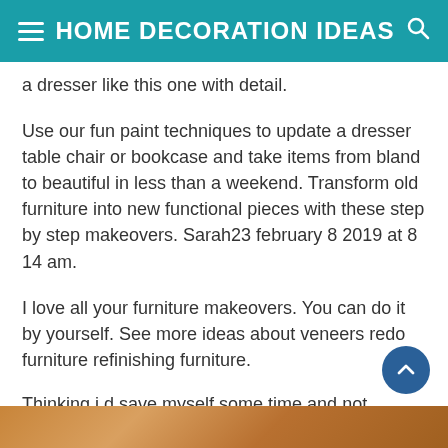HOME DECORATION IDEAS
a dresser like this one with detail.
Use our fun paint techniques to update a dresser table chair or bookcase and take items from bland to beautiful in less than a weekend. Transform old furniture into new functional pieces with these step by step makeovers. Sarah23 february 8 2019 at 8 14 am.
I love all your furniture makeovers. You can do it by yourself. See more ideas about veneers redo furniture refinishing furniture.
Thinking i d save myself some time and not knowing any better i bought a.
[Figure (photo): Partial view of a photo at the bottom of the page showing warm brown/orange tones, likely furniture or wood.]